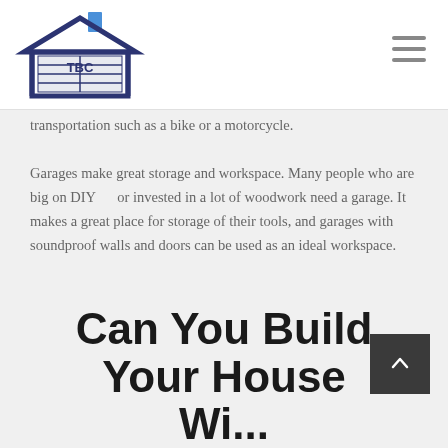[Figure (logo): TBC Garage Doors logo — house outline in dark blue/navy with a garage door showing 'TBC' text, blue chimney on top, 'GARAGEDOORS' text below in blue]
transportation such as a bike or a motorcycle.
Garages make great storage and workspace. Many people who are big on DIY    or invested in a lot of woodwork need a garage. It makes a great place for storage of their tools, and garages with soundproof walls and doors can be used as an ideal workspace.
Can You Build Your House Wi...